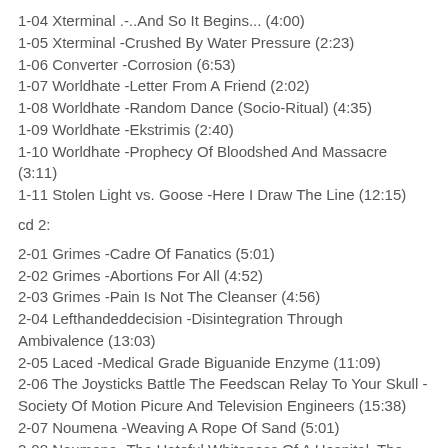1-04 Xterminal .-..And So It Begins... (4:00)
1-05 Xterminal -Crushed By Water Pressure (2:23)
1-06 Converter -Corrosion (6:53)
1-07 Worldhate -Letter From A Friend (2:02)
1-08 Worldhate -Random Dance (Socio-Ritual) (4:35)
1-09 Worldhate -Ekstrimis (2:40)
1-10 Worldhate -Prophecy Of Bloodshed And Massacre (3:11)
1-11 Stolen Light vs. Goose -Here I Draw The Line (12:15)
cd 2:
2-01 Grimes -Cadre Of Fanatics (5:01)
2-02 Grimes -Abortions For All (4:52)
2-03 Grimes -Pain Is Not The Cleanser (4:56)
2-04 Lefthandeddecision -Disintegration Through Ambivalence (13:03)
2-05 Laced -Medical Grade Biguanide Enzyme (11:09)
2-06 The Joysticks Battle The Feedscan Relay To Your Skull -Society Of Motion Picure And Television Engineers (15:38)
2-07 Noumena -Weaving A Rope Of Sand (5:01)
2-08 Noumena -The Hateful Whiteness Of A Hospital, The